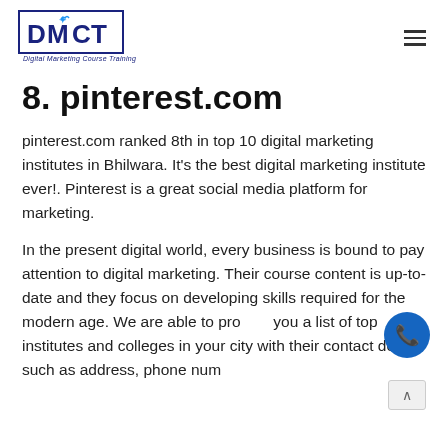DMCT Digital Marketing Course Training
8. pinterest.com
pinterest.com ranked 8th in top 10 digital marketing institutes in Bhilwara. It’s the best digital marketing institute ever!. Pinterest is a great social media platform for marketing.
In the present digital world, every business is bound to pay attention to digital marketing. Their course content is up-to-date and they focus on developing skills required for the modern age. We are able to provide you a list of top institutes and colleges in your city with their contact details such as address, phone num…